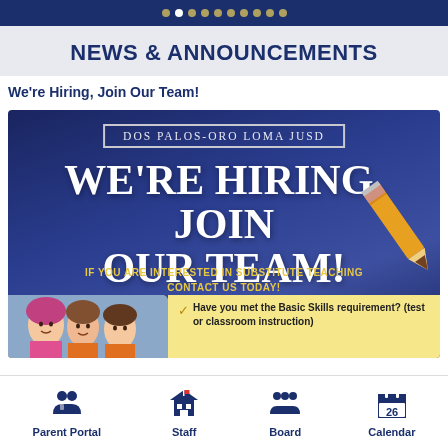Navigation dots bar
NEWS & ANNOUNCEMENTS
We're Hiring, Join Our Team!
[Figure (infographic): Dos Palos-Oro Loma JUSD hiring banner with large text 'WE'RE HIRING, JOIN OUR TEAM!', pencil graphic, subtitle 'IF YOU ARE INTERESTED IN SUBSTITUTE TEACHING CONTACT US TODAY!', children photo, and yellow note about Basic Skills requirement.]
Parent Portal | Staff | Board | Calendar